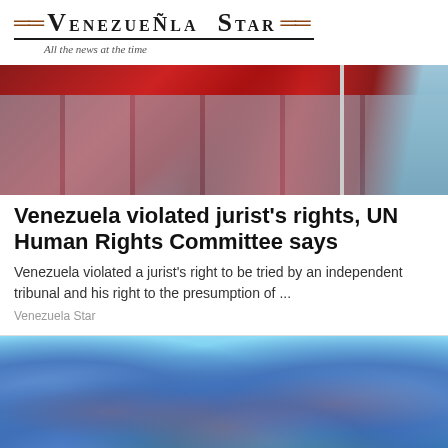Venezuela Star — All the news at the time
[Figure (photo): Photo of red flags or awning against a glass building facade]
Venezuela violated jurist's rights, UN Human Rights Committee says
Venezuela violated a jurist's right to be tried by an independent tribunal and his right to the presumption of ...
Venezuela Star
[Figure (photo): Close-up photo of blue borage flowers with blurred background]